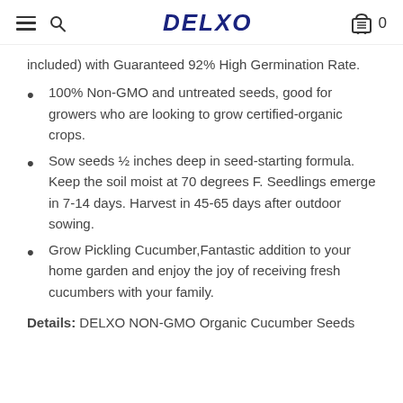DELXO 0
included) with Guaranteed 92% High Germination Rate.
100% Non-GMO and untreated seeds, good for growers who are looking to grow certified-organic crops.
Sow seeds ½ inches deep in seed-starting formula. Keep the soil moist at 70 degrees F. Seedlings emerge in 7-14 days. Harvest in 45-65 days after outdoor sowing.
Grow Pickling Cucumber,Fantastic addition to your home garden and enjoy the joy of receiving fresh cucumbers with your family.
Details: DELXO NON-GMO Organic Cucumber Seeds